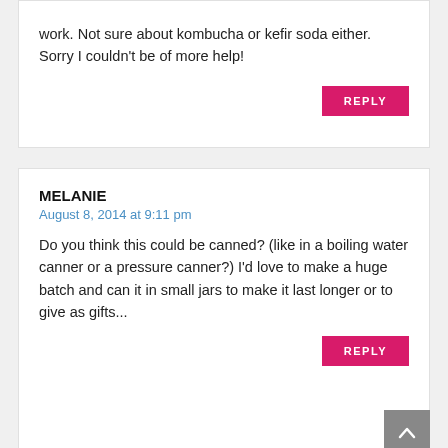work. Not sure about kombucha or kefir soda either. Sorry I couldn't be of more help!
REPLY
MELANIE
August 8, 2014 at 9:11 pm
Do you think this could be canned? (like in a boiling water canner or a pressure canner?) I'd love to make a huge batch and can it in small jars to make it last longer or to give as gifts...
REPLY
MELISSA KING